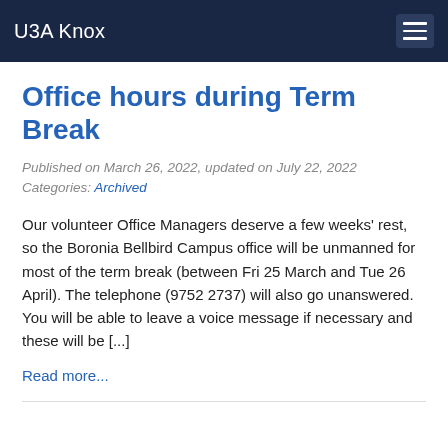U3A Knox
Office hours during Term Break
Published on March 26, 2022, updated on July 22, 2022
Categories: Archived
Our volunteer Office Managers deserve a few weeks’ rest, so the Boronia Bellbird Campus office will be unmanned for most of the term break (between Fri 25 March and Tue 26 April). The telephone (9752 2737) will also go unanswered. You will be able to leave a voice message if necessary and these will be [...]
Read more...